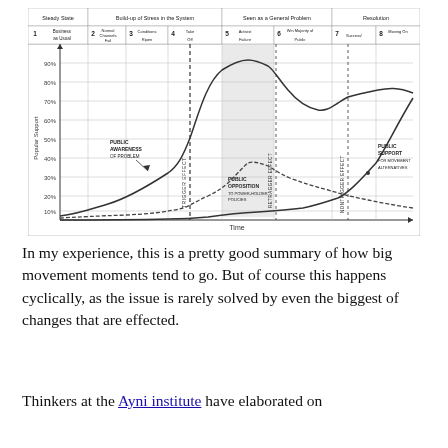[Figure (continuous-plot): A line chart showing Popular Support (y-axis, 0-90%) over Time (x-axis). The chart is divided into phases: Steady State (1: Business as Usual), Build-up of Stress in the System (2: Normal Channels Fail, 3: Conditions Ripen, 4: Take Off), Seen as a General Problem (5: Activist Failure, 6: Win Majority of Public), and Resolution (7: Success!, 8: Moving On). Three curves are shown: Public Awareness of Problem (rising S-curve peaking ~85% then declining), Public Opposition to Powerholder Policies (low rising curve peaking in shaded zone 5, then declining), and Public Support for Movement Alternatives (rising from right, reaching ~80%). Vertical dashed lines mark Trigger Effect (at 4), Retragger Effect (at 5-6 boundary), and Nontrigger Effect (at 7). A shaded gray band covers stages 5.]
In my experience, this is a pretty good summary of how big movement moments tend to go. But of course this happens cyclically, as the issue is rarely solved by even the biggest of changes that are effected.
Thinkers at the Ayni institute have elaborated on